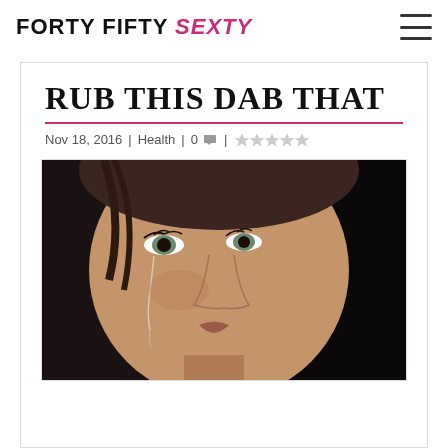FORTY FIFTY SEXTY
RUB THIS DAB THAT
Nov 18, 2016 | Health | 0 💬 | ☆☆☆☆☆
[Figure (photo): Close-up photo of a woman's face with a tear running down her cheek, dramatic lighting against dark background]